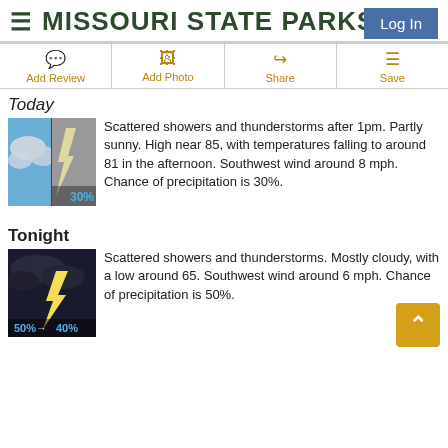MISSOURI STATE PARKS
Log In
Add Review
Add Photo
Share
Save
Today
[Figure (photo): Weather icon showing partly sunny sky with clouds, 30% precipitation label]
Scattered showers and thunderstorms after 1pm. Partly sunny. High near 85, with temperatures falling to around 81 in the afternoon. Southwest wind around 8 mph. Chance of precipitation is 30%.
Tonight
[Figure (photo): Weather icon showing dark stormy night sky with lightning, 50% to 40% precipitation label]
Scattered showers and thunderstorms. Mostly cloudy, with a low around 65. Southwest wind around 6 mph. Chance of precipitation is 50%.